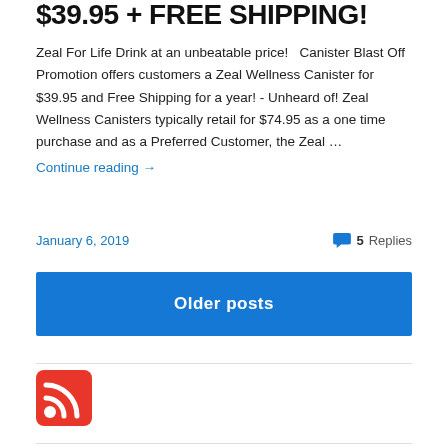$39.95 + FREE SHIPPING!
Zeal For Life Drink at an unbeatable price!   Canister Blast Off Promotion offers customers a Zeal Wellness Canister for $39.95 and Free Shipping for a year! - Unheard of! Zeal Wellness Canisters typically retail for $74.95 as a one time purchase and as a Preferred Customer, the Zeal …
Continue reading →
January 6, 2019    5 Replies
Older posts
[Figure (logo): RSS feed icon — orange/red square with white RSS signal symbol]